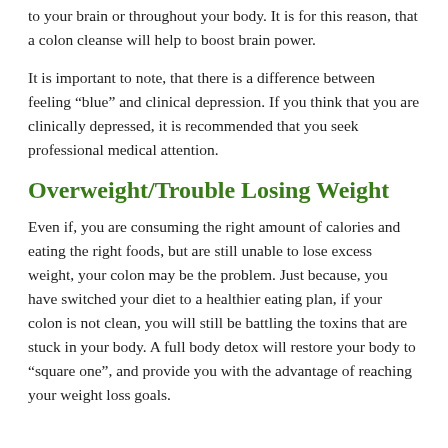to your brain or throughout your body. It is for this reason, that a colon cleanse will help to boost brain power.
It is important to note, that there is a difference between feeling “blue” and clinical depression. If you think that you are clinically depressed, it is recommended that you seek professional medical attention.
Overweight/Trouble Losing Weight
Even if, you are consuming the right amount of calories and eating the right foods, but are still unable to lose excess weight, your colon may be the problem. Just because, you have switched your diet to a healthier eating plan, if your colon is not clean, you will still be battling the toxins that are stuck in your body. A full body detox will restore your body to “square one”, and provide you with the advantage of reaching your weight loss goals.